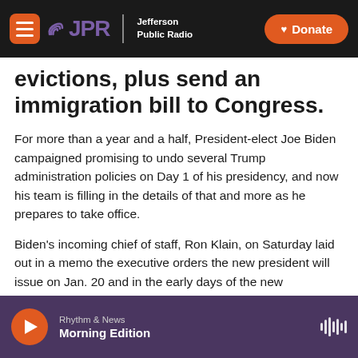JPR Jefferson Public Radio | Donate
evictions, plus send an immigration bill to Congress.
For more than a year and a half, President-elect Joe Biden campaigned promising to undo several Trump administration policies on Day 1 of his presidency, and now his team is filling in the details of that and more as he prepares to take office.
Biden's incoming chief of staff, Ron Klain, on Saturday laid out in a memo the executive orders the new president will issue on Jan. 20 and in the early days of the new administration.
Rhythm & News — Morning Edition